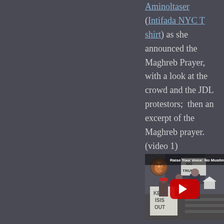Aminoltaser (Intifada NYC T shirt) as she announced the Maghreb Prayer, with a look at the crowd and the JDL protestors;  then an excerpt of the Maghreb prayer. (video 1)
[Figure (screenshot): YouTube video thumbnail showing protesters with signs reading 'KEEP ISIS OUT' and 'GO TRUMP', with a YouTube play button overlay. Video title reads 'Raise Your Voice: No Muslim Ban'. Squirrel avatar in top left corner.]